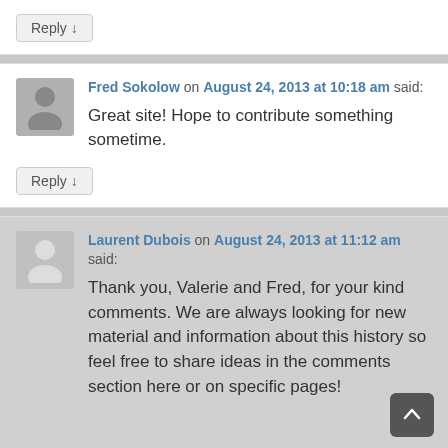Reply ↓
Fred Sokolow on August 24, 2013 at 10:18 am said:
Great site! Hope to contribute something sometime.
Reply ↓
Laurent Dubois on August 24, 2013 at 11:12 am said:
Thank you, Valerie and Fred, for your kind comments. We are always looking for new material and information about this history so feel free to share ideas in the comments section here or on specific pages!